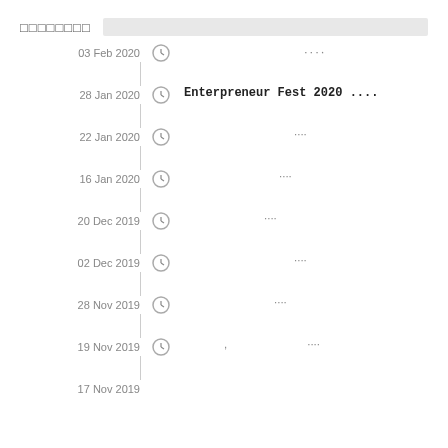□□□□□□□□
03 Feb 2020 — ....
28 Jan 2020 — Enterpreneur Fest 2020 ....
22 Jan 2020 — ....
16 Jan 2020 — ....
20 Dec 2019 — ....
02 Dec 2019 — ....
28 Nov 2019 — ....
19 Nov 2019 — , ....
17 Nov 2019